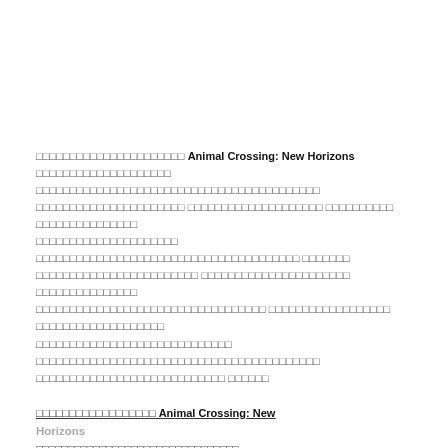□□□□□□□□□□□□□□□□□□□□□□ Animal Crossing: New Horizons □□□□□□□□□□□□□□□□□□□□ □□□□□□□□□□□□□□□□□□□□□□□□□□□□□□□□□□□□□□□□□□□□□□□□□□□□□□□□□□□□□□□□□□□□□□□□□□□□□□□□□□□□□□□□□□□□□□□□□□□□□□□□□□□□□□□□□□□□□□□□□□□□□□□□□□□□□□□□□□□□□□□□□□□□□□□□□□□□□□□□□□□□□□□□□□□□□□□□□□□□□□□□□□□□□□□□□□□□□□□□□□□□□□□□□□□□□□□□□□□□□□□□□□□□□□□□□□□□□□□□□□□□□□□□□□□□□□□□□□□□□□□□□□□□□□□□□□□□□□□□□□□□□□□□□□□□□□□□□□□□□□□□□□□□□□□□□□□□□□□□□□□□□□□□□□□□□□□□□□□□□□□□□□□□□□□□□□□□□□□□□□□□□□□□□□□□□□□□□□□□□□□□□□□□□□□□□□□□□□□□□□□□□□□□□□□□□□□□□□□□□□□□□□□□□□□□□□□□□□□□□□□□□□□□□□□□□□□□□□□□□□□□□□□□□□□□□□□□□
□□□□□□□□□□□□□□□□□□ Animal Crossing: New Horizons
Horizons □□□□□□□□□□□□□□□□□□□□□□□□□□□□□□□□□□□□□□□□□□□□□□□□□
□□□□□ □□□□□□□□□□□□□□□□□□□□□□□□□□ □□□□□□□□□□□□□□□□□□□□□□□□ □□□□□□□□ · Fish